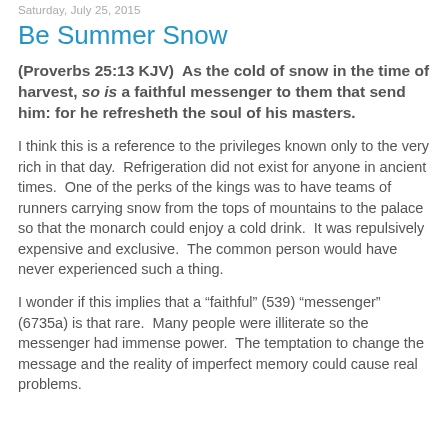Saturday, July 25, 2015
Be Summer Snow
(Proverbs 25:13 KJV)  As the cold of snow in the time of harvest, so is a faithful messenger to them that send him: for he refresheth the soul of his masters.
I think this is a reference to the privileges known only to the very rich in that day.  Refrigeration did not exist for anyone in ancient times.  One of the perks of the kings was to have teams of runners carrying snow from the tops of mountains to the palace so that the monarch could enjoy a cold drink.  It was repulsively expensive and exclusive.  The common person would have never experienced such a thing.
I wonder if this implies that a “faithful” (539) “messenger” (6735a) is that rare.  Many people were illiterate so the messenger had immense power.  The temptation to change the message and the reality of imperfect memory could cause real problems.